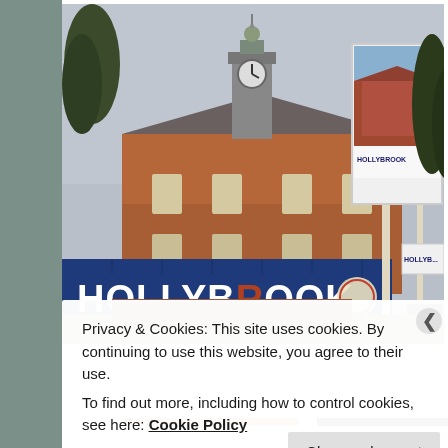[Figure (photo): Construction site photo showing a brick building with a clock tower, blue construction hoardings with 'HOLLYBROOK' signage, and a billboard showing a rendered image of the completed development. Trees visible in background.]
Privacy & Cookies: This site uses cookies. By continuing to use this website, you agree to their use.
To find out more, including how to control cookies, see here: Cookie Policy
Close and accept